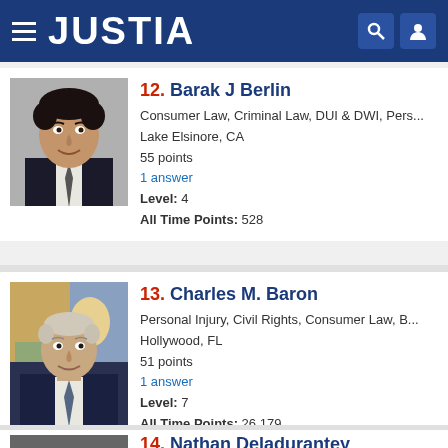JUSTIA
[Figure (photo): Headshot of attorney Barak J Berlin, a man with dark curly hair wearing a suit and tie]
12. Barak J Berlin
Consumer Law, Criminal Law, DUI & DWI, Pers...
Lake Elsinore, CA
55 points
1 answer
Level: 4
All Time Points: 528
[Figure (photo): Headshot of attorney Charles M. Baron, an older man in a suit with a painting in the background]
13. Charles M. Baron
Personal Injury, Civil Rights, Consumer Law, B...
Hollywood, FL
51 points
1 answer
Level: 7
All Time Points: 26,179
[Figure (photo): Partial headshot of attorney Nathan Deladurantey]
14. Nathan Deladurantey